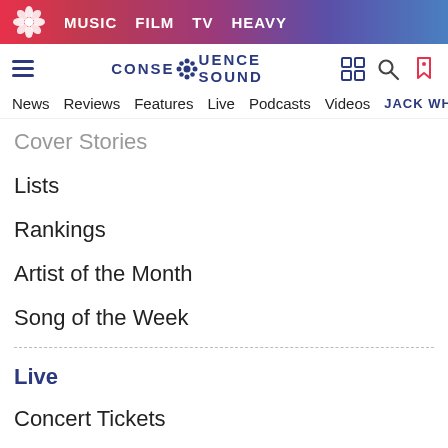MUSIC  FILM  TV  HEAVY
CONSEQUENCE SOUND
News  Reviews  Features  Live  Podcasts  Videos  JACK WH...
Cover Stories
Lists
Rankings
Artist of the Month
Song of the Week
Live
Concert Tickets
Festival Tickets
Advertisement
Festival News
Tour Dates